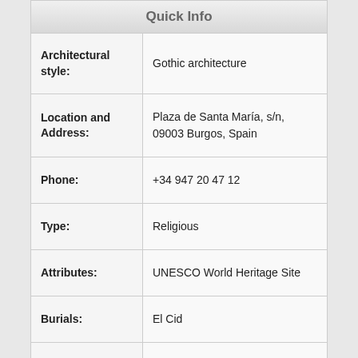Quick Info
| Field | Value |
| --- | --- |
| Architectural style: | Gothic architecture |
| Location and Address: | Plaza de Santa María, s/n, 09003 Burgos, Spain |
| Phone: | +34 947 20 47 12 |
| Type: | Religious |
| Attributes: | UNESCO World Heritage Site |
| Burials: | El Cid |
| Website: | http://whc.unesco.org/en/list/316 |